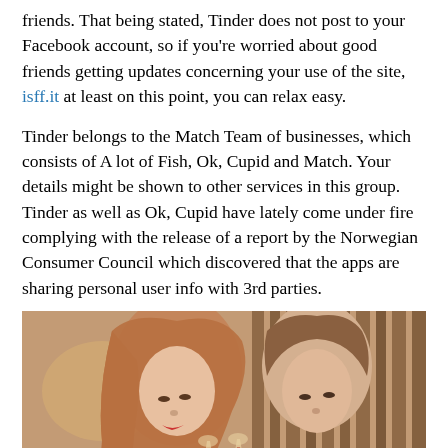friends. That being stated, Tinder does not post to your Facebook account, so if you're worried about good friends getting updates concerning your use of the site, isff.it at least on this point, you can relax easy.
Tinder belongs to the Match Team of businesses, which consists of A lot of Fish, Ok, Cupid and Match. Your details might be shown to other services in this group. Tinder as well as Ok, Cupid have lately come under fire complying with the release of a report by the Norwegian Consumer Council which discovered that the apps are sharing personal user info with 3rd parties.
[Figure (photo): A man and woman clinking wine glasses at a restaurant table with flowers, sitting across from each other in a romantic setting.]